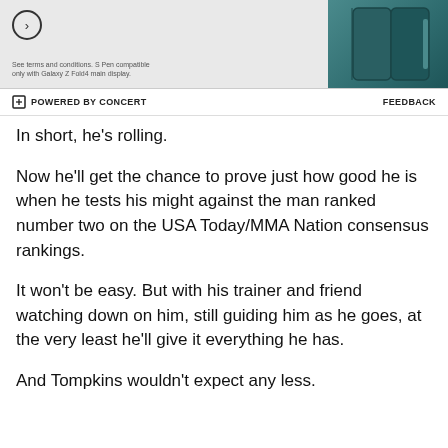[Figure (screenshot): Advertisement banner showing a teal/dark green Samsung Galaxy Z Fold4 device with stylus pen, on a light gray background. Small circular arrow button on left side. Terms text at bottom left.]
POWERED BY CONCERT    FEEDBACK
In short, he's rolling.
Now he'll get the chance to prove just how good he is when he tests his might against the man ranked number two on the USA Today/MMA Nation consensus rankings.
It won't be easy. But with his trainer and friend watching down on him, still guiding him as he goes, at the very least he'll give it everything he has.
And Tompkins wouldn't expect any less.